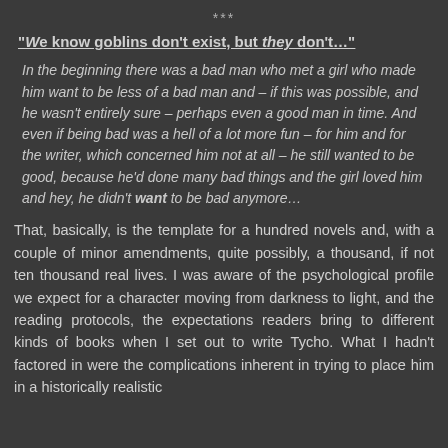***
“We know goblins don’t exist, but they don’t…”
In the beginning there was a bad man who met a girl who made him want to be less of a bad man and – if this was possible, and he wasn’t entirely sure – perhaps even a good man in time. And even if being bad was a hell of a lot more fun – for him and for the writer, which concerned him not at all – he still wanted to be good, because he’d done many bad things and the girl loved him and hey, he didn’t want to be bad anymore…
That, basically, is the template for a hundred novels and, with a couple of minor amendments, quite possibly, a thousand, if not ten thousand real lives. I was aware of the psychological profile we expect for a character moving from darkness to light, and the reading protocols, the expectations readers bring to different kinds of books when I set out to write Tycho. What I hadn’t factored in were the complications inherent in trying to place him in a historically realistic